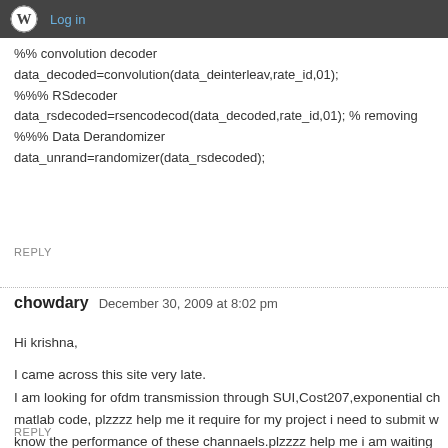Log in
%% convolution decoder
data_decoded=convolution(data_deinterleav,rate_id,01);
%%% RSdecoder
data_rsdecoded=rsencodecod(data_decoded,rate_id,01); % removing
%%% Data Derandomizer
data_unrand=randomizer(data_rsdecoded);
REPLY
chowdary  December 30, 2009 at 8:02 pm
Hi krishna,

I came across this site very late.
I am looking for ofdm transmission through SUI,Cost207,exponential ch
matlab code, plzzzz help me it require for my project i need to submit w
know the performance of these channaels.plzzzz help me i am waiting
REPLY